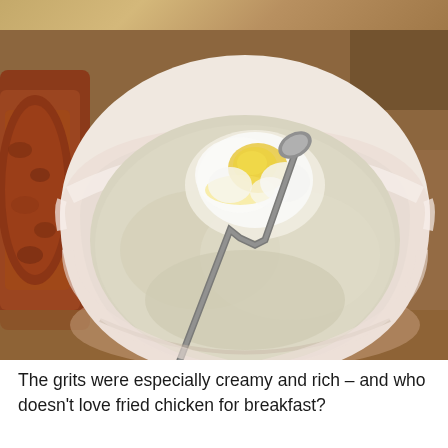[Figure (photo): Top strip of a previous photo showing a wooden table surface with warm brown tones]
[Figure (photo): A white ceramic bowl filled with creamy grits topped with a poached egg and butter, with a spoon resting in the bowl. Fried chicken pieces are visible on the left side of the frame. The bowl sits on a wooden table.]
The grits were especially creamy and rich – and who doesn't love fried chicken for breakfast?